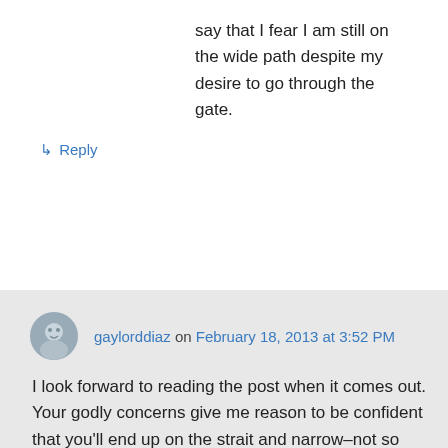say that I fear I am still on the wide path despite my desire to go through the gate.
↳ Reply
gaylorddiaz on February 18, 2013 at 3:52 PM
I look forward to reading the post when it comes out. Your godly concerns give me reason to be confident that you'll end up on the strait and narrow–not so much because I'm confident in you, but rather, because I'm confident in the Lord's love, care, and ability to take good care of you through all the storms, trials, temptations, and falls of life. I believe you are His and He will see